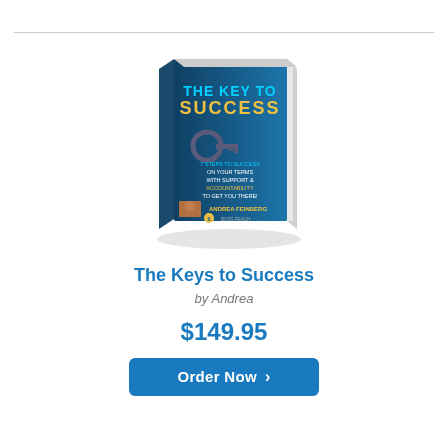[Figure (photo): Book cover of 'The Key to Success' by Andrea Feinberg, showing a dark blue cover with a key graphic, subtitle '7 Steps to Success on Your Terms with Support & Accountability to Get You There!', with the author's photo and Boss Reach logo at the bottom.]
The Keys to Success
by Andrea
$149.95
Order Now